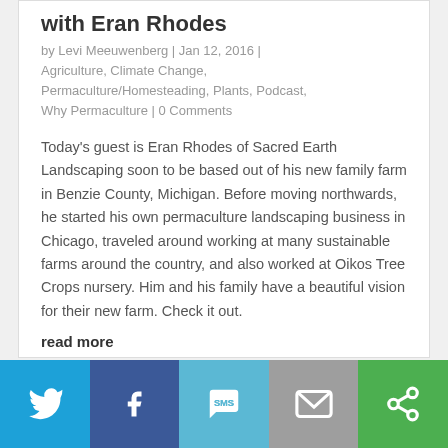with Eran Rhodes
by Levi Meeuwenberg | Jan 12, 2016 | Agriculture, Climate Change, Permaculture/Homesteading, Plants, Podcast, Why Permaculture | 0 Comments
Today's guest is Eran Rhodes of Sacred Earth Landscaping soon to be based out of his new family farm in Benzie County, Michigan. Before moving northwards, he started his own permaculture landscaping business in Chicago, traveled around working at many sustainable farms around the country, and also worked at Oikos Tree Crops nursery. Him and his family have a beautiful vision for their new farm. Check it out.
read more
[Figure (infographic): Social sharing bar with five buttons: Twitter (blue), Facebook (dark blue), SMS (light blue), Email (grey), and Share/More (green), each with respective icons in white.]